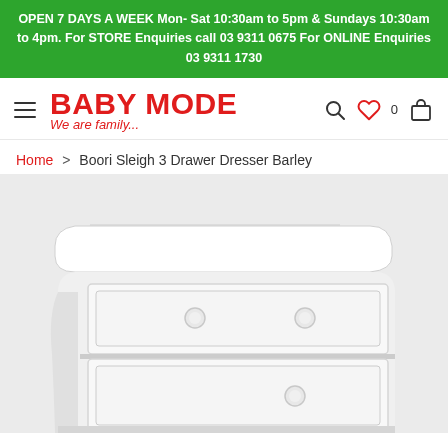OPEN 7 DAYS A WEEK Mon-Sat 10:30am to 5pm & Sundays 10:30am to 4pm. For STORE Enquiries call 03 9311 0675 For ONLINE Enquiries 03 9311 1730
BABY MODE — We are family...
Home > Boori Sleigh 3 Drawer Dresser Barley
[Figure (photo): White Boori Sleigh 3 Drawer Dresser in Barley finish, showing the top two drawers and curved sides of the dresser against a light background.]